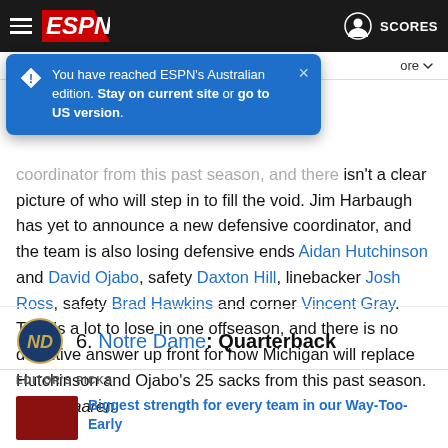ESPN navigation bar with hamburger menu, ESPN logo, user icon and SCORES
[Figure (screenshot): Blue tooltip popup: 'You have reached ESPN's Australian edition. Stay on current site or go to US version.']
coordinator from this past season, and there isn't a clear picture of who will step in to fill the void. Jim Harbaugh has yet to announce a new defensive coordinator, and the team is also losing defensive ends Aidan Hutchinson and David Ojabo, safety Daxton Hill, linebacker Josh Ross, safety Brad Hawkins and corner Vincent Gray. That is a lot to lose in one offseason, and there is no definitive answer up front for how Michigan will replace Hutchinson and Ojabo's 25 sacks from this past season. -- VanHaaren
6. Notre Dame: Quarterback
EDITOR'S PICKS
Biggest strength for every team in our Way-Too-Early